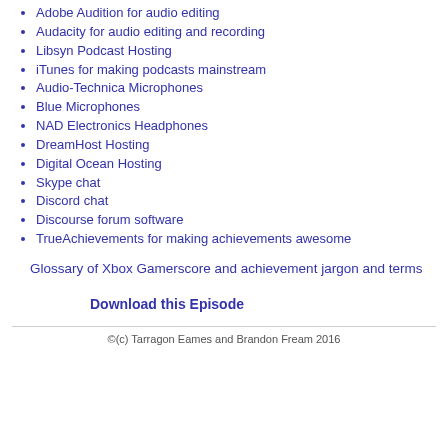Adobe Audition for audio editing
Audacity for audio editing and recording
Libsyn Podcast Hosting
iTunes for making podcasts mainstream
Audio-Technica Microphones
Blue Microphones
NAD Electronics Headphones
DreamHost Hosting
Digital Ocean Hosting
Skype chat
Discord chat
Discourse forum software
TrueAchievements for making achievements awesome
Glossary of Xbox Gamerscore and achievement jargon and terms
Download this Episode
©(c) Tarragon Eames and Brandon Fream 2016